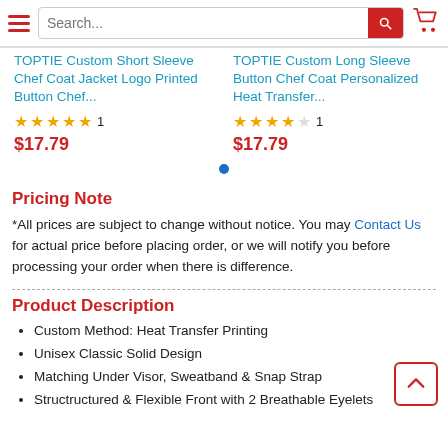Search bar and navigation header
TOPTIE Custom Short Sleeve Chef Coat Jacket Logo Printed Button Chef...
★★★★★ 1
$17.79
TOPTIE Custom Long Sleeve Button Chef Coat Personalized Heat Transfer...
★★★★☆ 1
$17.79
Pricing Note
*All prices are subject to change without notice. You may Contact Us for actual price before placing order, or we will notify you before processing your order when there is difference.
Product Description
Custom Method: Heat Transfer Printing
Unisex Classic Solid Design
Matching Under Visor, Sweatband & Snap Strap
Structructured & Flexible Front with 2 Breathable Eyelets